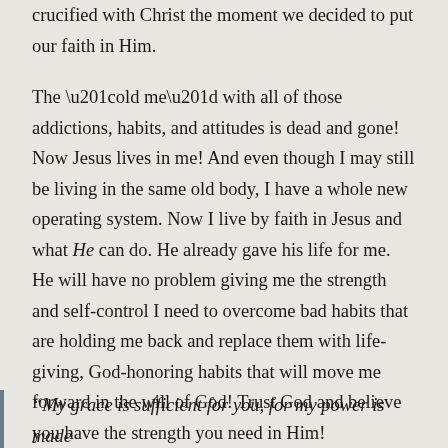crucified with Christ the moment we decided to put our faith in Him.
The “old me” with all of those addictions, habits, and attitudes is dead and gone! Now Jesus lives in me! And even though I may still be living in the same old body, I have a whole new operating system. Now I live by faith in Jesus and what He can do. He already gave his life for me. He will have no problem giving me the strength and self-control I need to overcome bad habits that are holding me back and replace them with life-giving, God-honoring habits that will move me forward in the will of God! Trust God and believe you have the strength you need in Him!
“My grace is sufficient for you, for my power is made